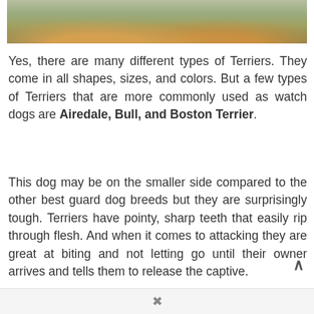[Figure (photo): Partial photo of a dog (terrier) standing on a rock outdoors, showing only the legs/paws and lower body against a blurred natural background with grasses.]
Yes, there are many different types of Terriers. They come in all shapes, sizes, and colors. But a few types of Terriers that are more commonly used as watch dogs are Airedale, Bull, and Boston Terrier.
This dog may be on the smaller side compared to the other best guard dog breeds but they are surprisingly tough. Terriers have pointy, sharp teeth that easily rip through flesh. And when it comes to attacking they are great at biting and not letting go until their owner arrives and tells them to release the captive.